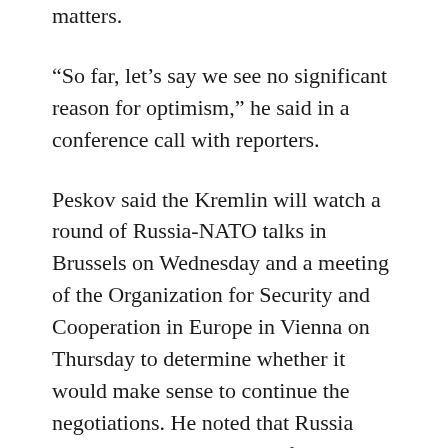matters.
“So far, let’s say we see no significant reason for optimism,” he said in a conference call with reporters.
Peskov said the Kremlin will watch a round of Russia-NATO talks in Brussels on Wednesday and a meeting of the Organization for Security and Cooperation in Europe in Vienna on Thursday to determine whether it would make sense to continue the negotiations. He noted that Russia isn’t setting any deadlines for the talks but wouldn’t accept dragging them out.
Speaking ahead of the talks in Brussels, Smith warned that “not a single ally inside the NATO alliance is willing to budge or negotiate anything as